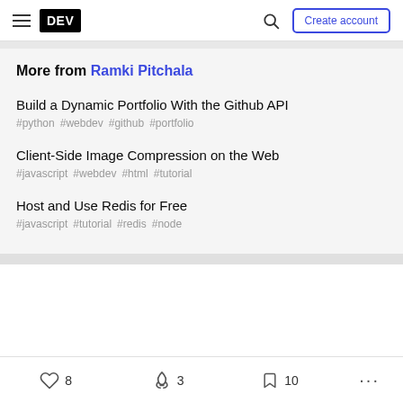DEV — Create account
More from Ramki Pitchala
Build a Dynamic Portfolio With the Github API
#python #webdev #github #portfolio
Client-Side Image Compression on the Web
#javascript #webdev #html #tutorial
Host and Use Redis for Free
#javascript #tutorial #redis #node
8  3  10  ...